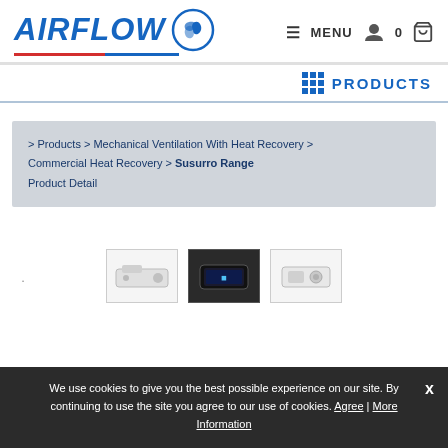[Figure (logo): AIRFLOW logo with blue italic bold text and red/blue underline, with a circular leaf/fan icon]
≡ MENU  0 🛒
⊞ PRODUCTS
> Products > Mechanical Ventilation With Heat Recovery > Commercial Heat Recovery > Susurro Range Product Detail
[Figure (photo): Three product thumbnail images of Susurro Range units]
We use cookies to give you the best possible experience on our site. By continuing to use the site you agree to our use of cookies. Agree | More Information